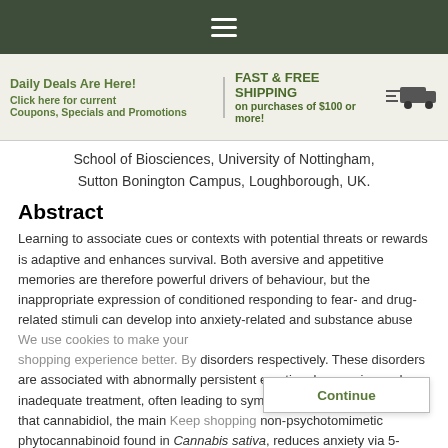Navigation bar with hamburger menu
Daily Deals Are Here! Click here for current Coupons, Specials and Promotions
FAST & FREE SHIPPING on purchases of $100 or more!
School of Biosciences, University of Nottingham, Sutton Bonington Campus, Loughborough, UK.
Abstract
Learning to associate cues or contexts with potential threats or rewards is adaptive and enhances survival. Both aversive and appetitive memories are therefore powerful drivers of behaviour, but the inappropriate expression of conditioned responding to fear- and drug-related stimuli can develop into anxiety-related and substance abuse disorders respectively. These disorders are associated with abnormally persistent emotional memories and inadequate treatment, often leading to symptom relapse. Studies show that cannabidiol, the main non-psychotomimetic phytocannabinoid found in Cannabis sativa, reduces anxiety via 5-HT1A and (indirect) cannabinoid receptor activation in paradigms assessing innate responses to threat. There is also accumulating evidence from animal studies investigating the effects of cannabidiol for memory associated anxiety disorders.